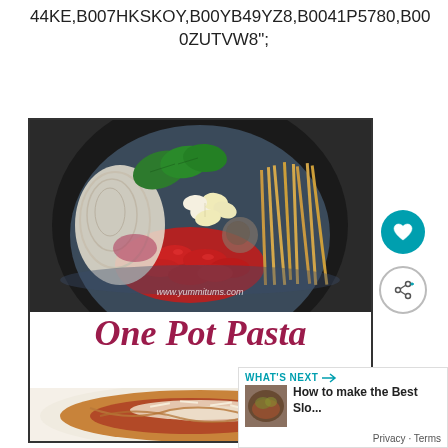44KE,B007HKSKOY,B00YB49YZ8,B0041P5780,B000ZUTVW8";
[Figure (photo): A card showing a one pot pasta recipe. Top image: a dark pot with raw ingredients including onion slices, garlic, fresh basil, dried pasta, cherry tomatoes, and spices arranged in the pot. Below a cursive italic title 'One Pot Pasta' in dark red/maroon. Bottom image: a plate of finished cooked pasta with red sauce and grated cheese on top. A small watermark reads 'www.yummitums.com' on the photo.]
[Figure (screenshot): Sidebar UI elements: a teal heart/like button and a share button (circle with lines), plus a 'What's Next' panel showing a small thumbnail of food and text 'How to make the Best Slo...' with 'Privacy · Terms' at the bottom.]